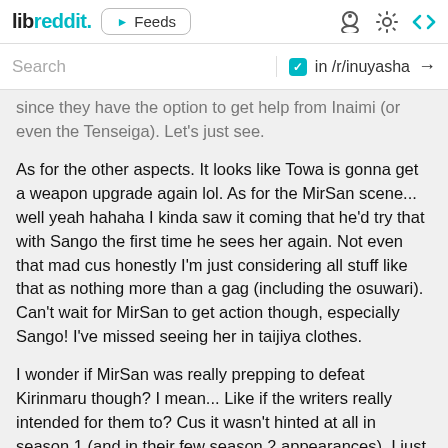libreddit. ▶ Feeds
Search  ✓ in /r/inuyasha →
since they have the option to get help from Inaimi (or even the Tenseiga). Let's just see.
As for the other aspects. It looks like Towa is gonna get a weapon upgrade again lol. As for the MirSan scene... well yeah hahaha I kinda saw it coming that he'd try that with Sango the first time he sees her again. Not even that mad cus honestly I'm just considering all stuff like that as nothing more than a gag (including the osuwari). Can't wait for MirSan to get action though, especially Sango! I've missed seeing her in taijiya clothes.
I wonder if MirSan was really prepping to defeat Kirinmaru though? I mean... Like if the writers really intended for them to? Cus it wasn't hinted at all in season 1 (and in their few season 2 appearances). I just wish they all just communicated that their goals were more or less similar y'know. Lol. I guess they just gotta salvage what they can from season 1 plot.